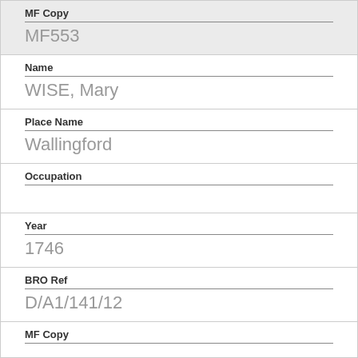| Field | Value |
| --- | --- |
| MF Copy | MF553 |
| Name | WISE, Mary |
| Place Name | Wallingford |
| Occupation |  |
| Year | 1746 |
| BRO Ref | D/A1/141/12 |
| MF Copy |  |